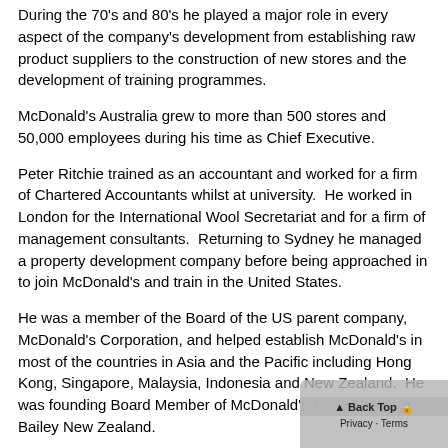During the 70's and 80's he played a major role in every aspect of the company's development from establishing raw product suppliers to the construction of new stores and the development of training programmes.
McDonald's Australia grew to more than 500 stores and 50,000 employees during his time as Chief Executive.
Peter Ritchie trained as an accountant and worked for a firm of Chartered Accountants whilst at university.  He worked in London for the International Wool Secretariat and for a firm of management consultants.  Returning to Sydney he managed a property development company before being approached in to join McDonald's and train in the United States.
He was a member of the Board of the US parent company, McDonald's Corporation, and helped establish McDonald's in most of the countries in Asia and the Pacific including Hong Kong, Singapore, Malaysia, Indonesia and New Zealand.  He was founding Board Member of McDonald's Hong Kong, Bailey New Zealand.